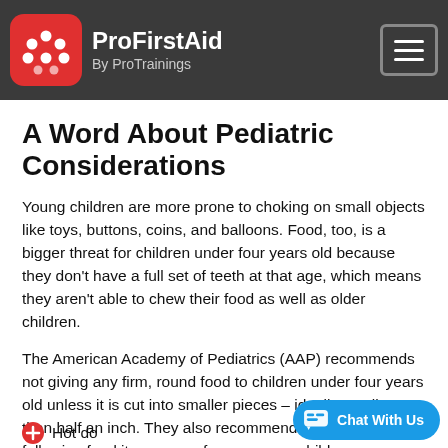ProFirstAid By ProTrainings
A Word About Pediatric Considerations
Young children are more prone to choking on small objects like toys, buttons, coins, and balloons. Food, too, is a bigger threat for children under four years old because they don't have a full set of teeth at that age, which means they aren't able to chew their food as well as older children.
The American Academy of Pediatrics (AAP) recommends not giving any firm, round food to children under four years old unless it is cut into smaller pieces – ideally smaller than half an inch. They also recommend keeping the following food items away from younger children:
Hot dogs